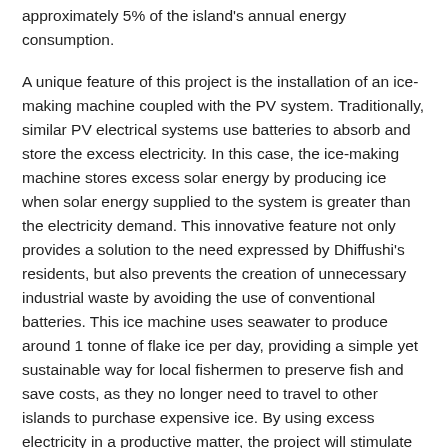approximately 5% of the island's annual energy consumption.
A unique feature of this project is the installation of an ice-making machine coupled with the PV system. Traditionally, similar PV electrical systems use batteries to absorb and store the excess electricity. In this case, the ice-making machine stores excess solar energy by producing ice when solar energy supplied to the system is greater than the electricity demand. This innovative feature not only provides a solution to the need expressed by Dhiffushi's residents, but also prevents the creation of unnecessary industrial waste by avoiding the use of conventional batteries. This ice machine uses seawater to produce around 1 tonne of flake ice per day, providing a simple yet sustainable way for local fishermen to preserve fish and save costs, as they no longer need to travel to other islands to purchase expensive ice. By using excess electricity in a productive matter, the project will stimulate Dhiffushi Island's local economy.
The project won a 2017 Energy Globe Award and is helping the Maldives take immediate action toward building a more sustainable future and implementing its commitments to the Paris